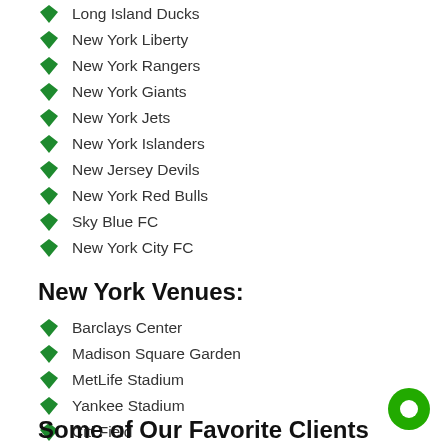Long Island Ducks
New York Liberty
New York Rangers
New York Giants
New York Jets
New York Islanders
New Jersey Devils
New York Red Bulls
Sky Blue FC
New York City FC
New York Venues:
Barclays Center
Madison Square Garden
MetLife Stadium
Yankee Stadium
Citi Field
Some of Our Favorite Clients